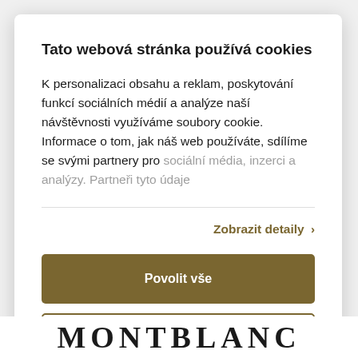Tato webová stránka používá cookies
K personalizaci obsahu a reklam, poskytování funkcí sociálních médií a analýze naší návštěvnosti využíváme soubory cookie. Informace o tom, jak náš web používáte, sdílíme se svými partnery pro sociální média, inzerci a analýzy. Partneři tyto údaje
Zobrazit detaily ›
Povolit vše
Upravit ›
[Figure (logo): Montblanc logo text at bottom of page]